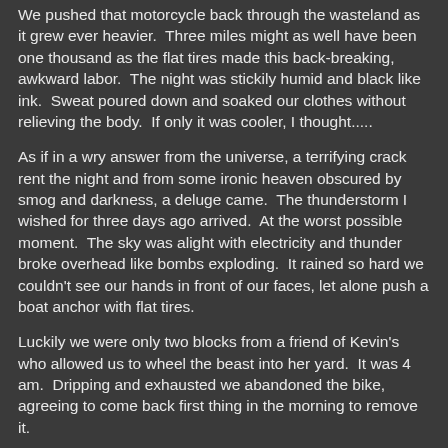We pushed that motorcycle back through the wasteland as it grew ever heavier.  Three miles might as well have been one thousand as the flat tires made this back-breaking, awkward labor.  The night was stickily humid and black like ink.  Sweat poured down and soaked our clothes without relieving the body.  If only it was cooler, I thought.....
As if in a wry answer from the universe, a terrifying crack rent the night and from some ironic heaven obscured by smog and darkness, a deluge came.  The thunderstorm I wished for three days ago arrived.  At the worst possible moment.  The sky was alight with electricity and thunder broke overhead like bombs exploding.  It rained so hard we couldn't see our hands in front of our faces, let alone push a boat anchor with flat tires.
Luckily we were only two blocks from a friend of Kevin's who allowed us to wheel the beast into her yard.  It was 4 am.  Dripping and exhausted we abandoned the bike, agreeing to come back first thing in the morning to remove it.
Kevin went to his girlfriend's house, I returned home.  The